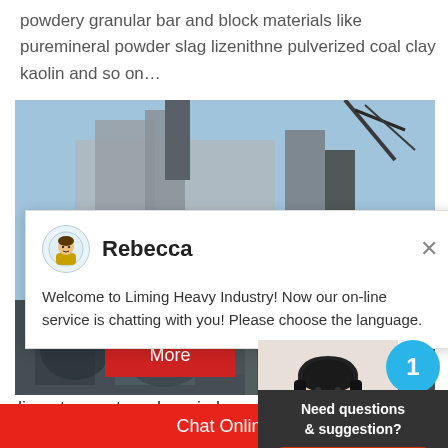powdery granular bar and block materials like puremineral powder slag lizenithne pulverized coal clay kaolin and so on…
[Figure (photo): Industrial facility/factory building with machinery, steel framework, and equipment against a blue sky]
[Figure (screenshot): Chat popup with avatar of Rebecca, text: Welcome to Liming Heavy Industry! Now our on-line service is chatting with you! Please choose the language.]
[Figure (photo): Customer service representative woman with headset smiling, with notification badge showing 1]
limestone rotary dryer in kenya - Bu
Need questions & suggestion?
Chat Now
Chat Online